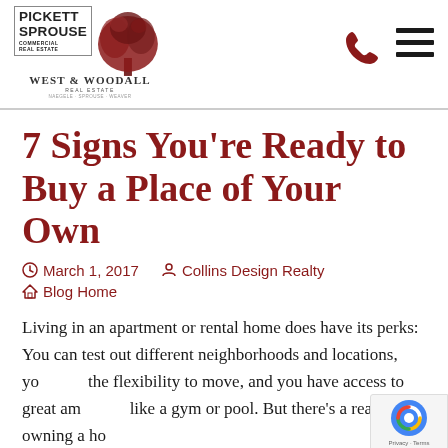[Figure (logo): Pickett Sprouse Commercial Real Estate logo combined with West & Woodall Real Estate logo featuring a tree illustration]
7 Signs You’re Ready to Buy a Place of Your Own
March 1, 2017   Collins Design Realty
Blog Home
Living in an apartment or rental home does have its perks: You can test out different neighborhoods and locations, you have the flexibility to move, and you have access to great amenities like a gym or pool. But there’s a reason that owning a home,